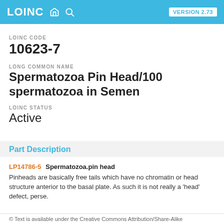LOINC  VERSION 2.73
LOINC CODE
10623-7
LONG COMMON NAME
Spermatozoa Pin Head/100 spermatozoa in Semen
LOINC STATUS
Active
Part Description
LP14786-5  Spermatozoa.pin head
Pinheads are basically free tails which have no chromatin or head structure anterior to the basal plate. As such it is not really a 'head' defect, perse.
© Text is available under the Creative Commons Attribution/Share-Alike